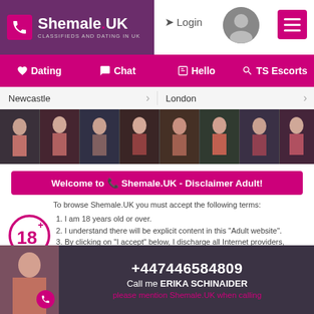Shemale.UK - CLASSIFIEDS AND DATING IN UK | Login | Dating | Chat | Hello | TS Escorts
Newcastle  London
[Figure (photo): Strip of thumbnail photos of people]
Welcome to Shemale.UK - Disclaimer Adult!
To browse Shemale.UK you must accept the following terms:
1. I am 18 years old or over.
2. I understand there will be explicit content in this "Adult website".
3. By clicking on "I accept" below, I discharge all Internet providers, owners and founders of Shemale.uk of any responsibility regarding
+447446584809 | Call me ERIKA SCHINAIDER | please mention Shemale.UK when calling